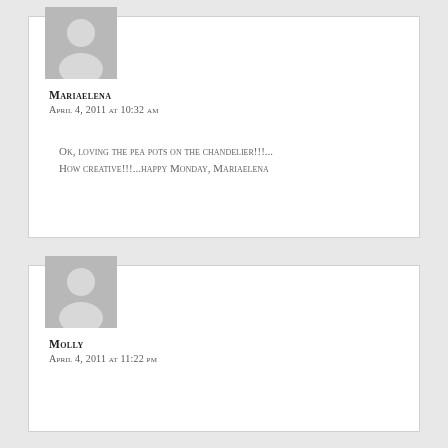Mariaelena
April 4, 2011 at 10:32 am
OK, loving the pea pots on the chandelier!!!... How creative!!!...happy Monday, Mariaelena
Molly
April 4, 2011 at 11:22 pm